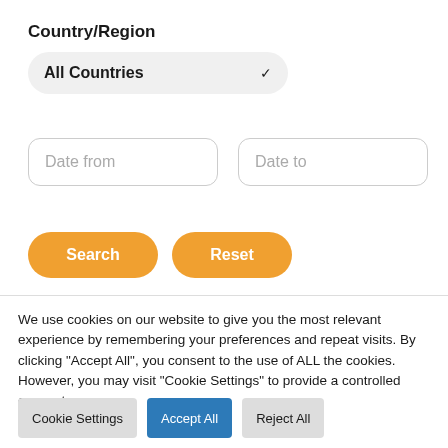Country/Region
[Figure (screenshot): Dropdown selector showing 'All Countries' with a downward chevron arrow, styled with rounded corners on a light grey background]
[Figure (screenshot): Two date input fields side by side: 'Date from' on the left and 'Date to' on the right, both with rounded rectangle borders]
[Figure (screenshot): Two orange rounded buttons: 'Search' on the left and 'Reset' on the right]
We use cookies on our website to give you the most relevant experience by remembering your preferences and repeat visits. By clicking "Accept All", you consent to the use of ALL the cookies. However, you may visit "Cookie Settings" to provide a controlled consent.
[Figure (screenshot): Three buttons in a row: 'Cookie Settings' (grey), 'Accept All' (blue), and 'Reject All' (grey)]